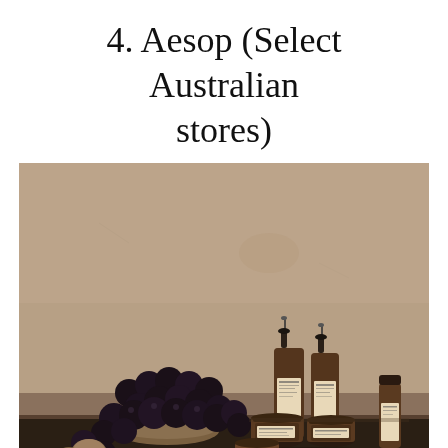4. Aesop (Select Australian stores)
[Figure (photo): Aesop skincare products including dropper bottles and jars arranged on a dark wooden surface beside a bowl of dark grapes and figs, against a warm beige/tan textured wall background.]